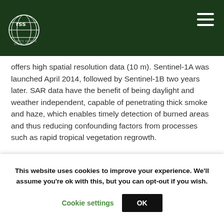RSS logo and navigation header
offers high spatial resolution data (10 m). Sentinel-1A was launched April 2014, followed by Sentinel-1B two years later. SAR data have the benefit of being daylight and weather independent, capable of penetrating thick smoke and haze, which enables timely detection of burned areas and thus reducing confounding factors from processes such as rapid tropical vegetation regrowth.
[Figure (photo): Partial image visible at bottom of page, appearing to show a landscape or satellite image with beige/tan tones]
This website uses cookies to improve your experience. We'll assume you're ok with this, but you can opt-out if you wish. Cookie settings OK